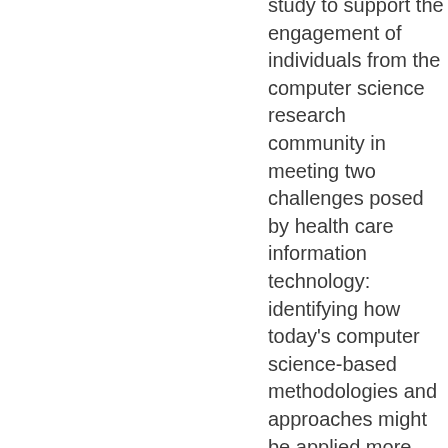study to support the engagement of individuals from the computer science research community in meeting two challenges posed by health care information technology: identifying how today's computer science-based methodologies and approaches might be applied more effectively to health care, and explicating how the limitations in these methodologies and approaches might be overcome through additional research and